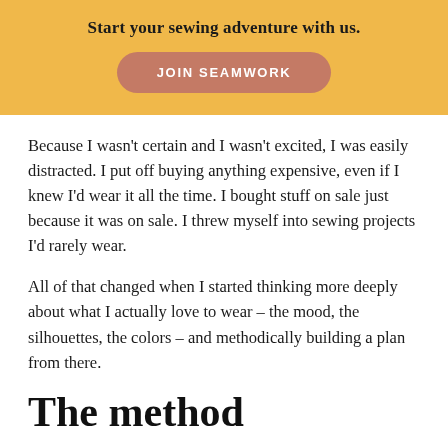Start your sewing adventure with us.
[Figure (other): JOIN SEAMWORK button — a rounded rectangle button with salmon/terracotta color and white uppercase text reading JOIN SEAMWORK]
Because I wasn't certain and I wasn't excited, I was easily distracted. I put off buying anything expensive, even if I knew I'd wear it all the time. I bought stuff on sale just because it was on sale. I threw myself into sewing projects I'd rarely wear.
All of that changed when I started thinking more deeply about what I actually love to wear – the mood, the silhouettes, the colors – and methodically building a plan from there.
The method